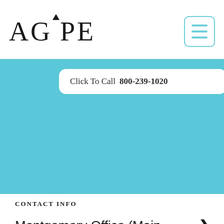AGAPE
Click To Call  800-239-1020
CONTACT INFO
Montgomery Office (Main Office)